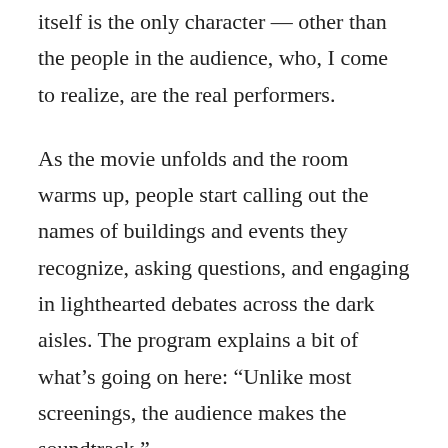itself is the only character — other than the people in the audience, who, I come to realize, are the real performers.
As the movie unfolds and the room warms up, people start calling out the names of buildings and events they recognize, asking questions, and engaging in lighthearted debates across the dark aisles. The program explains a bit of what's going on here: “Unlike most screenings, the audience makes the soundtrack.”
The conductor of this orchestra is Rick Prelinger,